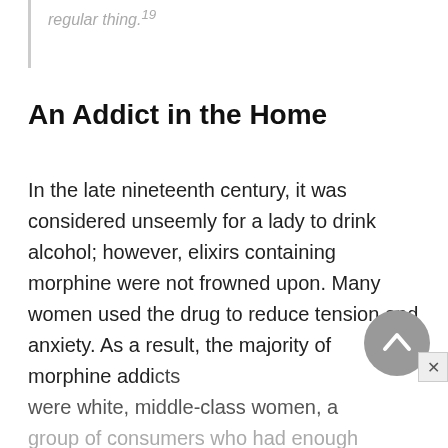regular thing.19
An Addict in the Home
In the late nineteenth century, it was considered unseemly for a lady to drink alcohol; however, elixirs containing morphine were not frowned upon. Many women used the drug to reduce tension and anxiety. As a result, the majority of morphine addicts were white, middle-class women, a group of consumers who had enough